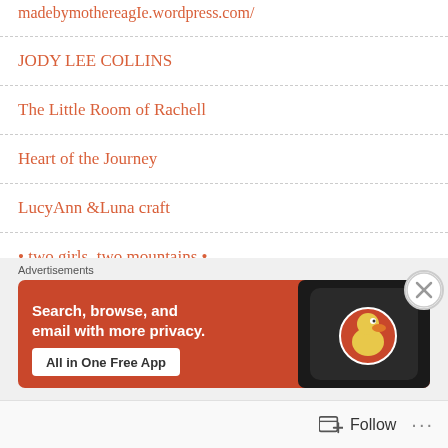madebymothereagIe.wordpress.com/
JODY LEE COLLINS
The Little Room of Rachell
Heart of the Journey
LucyAnn &Luna craft
• two girls, two mountains •
my grateful plate
LISMORE PAPER
Advertisements
[Figure (screenshot): DuckDuckGo advertisement banner: 'Search, browse, and email with more privacy. All in One Free App' with phone mockup and duck logo on orange background]
Follow